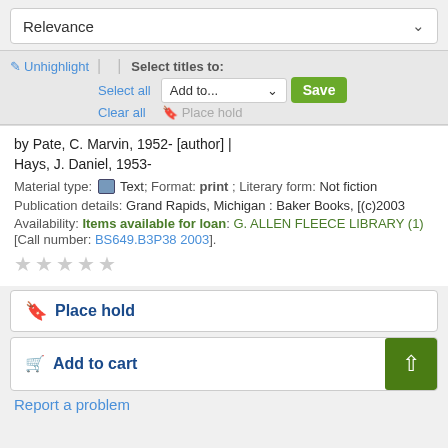Relevance
Unhighlight | Select titles to: Select all | Add to... Save | Clear all | Place hold
by Pate, C. Marvin, 1952- [author] | Hays, J. Daniel, 1953-
Material type: Text; Format: print ; Literary form: Not fiction
Publication details: Grand Rapids, Michigan : Baker Books, [(c)2003
Availability: Items available for loan: G. ALLEN FLEECE LIBRARY (1) [Call number: BS649.B3P38 2003].
Place hold
Add to cart
Report a problem